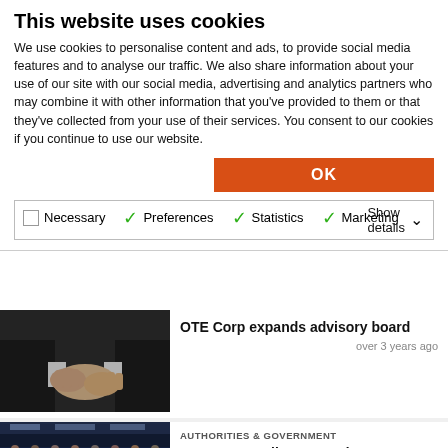This website uses cookies
We use cookies to personalise content and ads, to provide social media features and to analyse our traffic. We also share information about your use of our site with our social media, advertising and analytics partners who may combine it with other information that you've provided to them or that they've collected from your use of their services. You consent to our cookies if you continue to use our website.
OK
Necessary   Preferences   Statistics   Marketing   Show details
[Figure (photo): Two people in suits shaking hands]
OTE Corp expands advisory board
over 3 years ago
[Figure (photo): European Parliament session with people seated at desks with cameras in the foreground]
AUTHORITIES & GOVERNMENT
European Parliament nods yes to 32% renewable energy rule
over 3 years ago